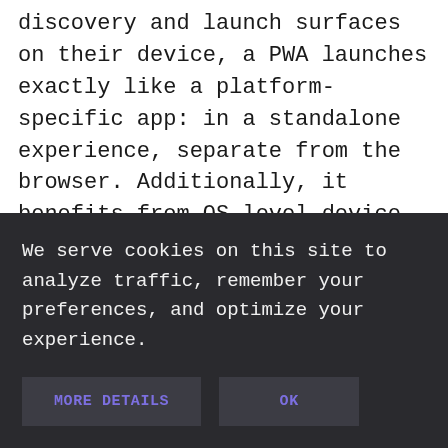discovery and launch surfaces on their device, a PWA launches exactly like a platform-specific app: in a standalone experience, separate from the browser. Additionally, it benefits from OS-level device services such as the app switcher and settings.
Users who install your PWA are likely your most engaged users, with better engagement metrics than casual visitors, including more
We serve cookies on this site to analyze traffic, remember your preferences, and optimize your experience.